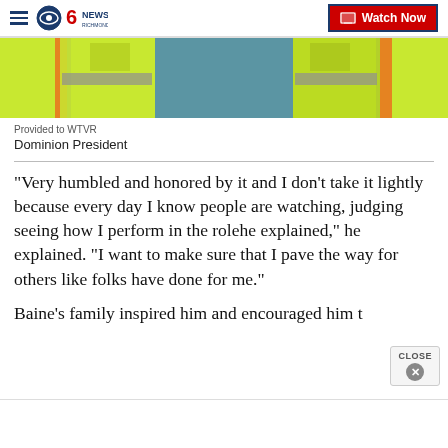CBS 6 News Richmond | Watch Now
[Figure (photo): Person wearing a bright yellow-green safety/reflective vest with orange accents and a blue shirt underneath, partially visible from chest down]
Provided to WTVR
Dominion President
“Very humbled and honored by it and I don’t take it lightly because every day I know people are watching, judging seeing how I perform in the rolehe explained," he explained. "I want to make sure that I pave the way for others like folks have done for me.”
Baine’s family inspired him and encouraged him t